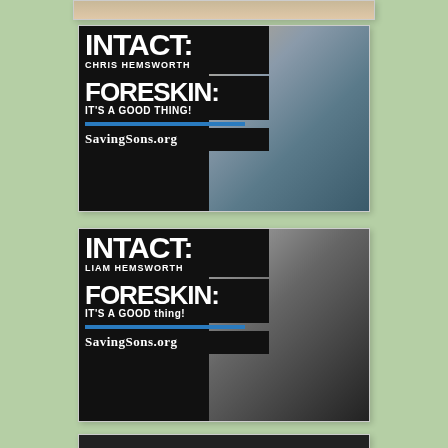[Figure (photo): Partial top of first card visible at very top of page, showing a cropped photo]
[Figure (infographic): Promotional card with text: INTACT, CHRIS HEMSWORTH, FORESKIN: IT'S A GOOD THING!, SAVINGSONS.ORG, overlaid on photo of Chris Hemsworth]
[Figure (infographic): Promotional card with text: INTACT, LIAM HEMSWORTH, FORESKIN: IT'S A GOOD THING!, SAVINGSONS.ORG, overlaid on black-and-white photo of Liam Hemsworth]
[Figure (photo): Partial bottom of another card visible at very bottom of page]